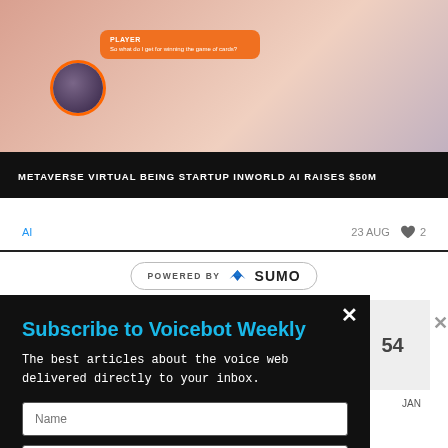[Figure (photo): Hero image showing a virtual avatar/character in orange-pink tones with a VR headset user and an orange speech bubble labeled PLAYER with text 'So what do I get for winning the game of cards?']
METAVERSE VIRTUAL BEING STARTUP INWORLD AI RAISES $50M
AI    23 AUG  ♥ 2
[Figure (logo): POWERED BY SUMO logo badge with crown icon]
51  FEB
54  JAN
Subscribe to Voicebot Weekly
The best articles about the voice web delivered directly to your inbox.
[Name field] [Email field] [SUBSCRIBE button]